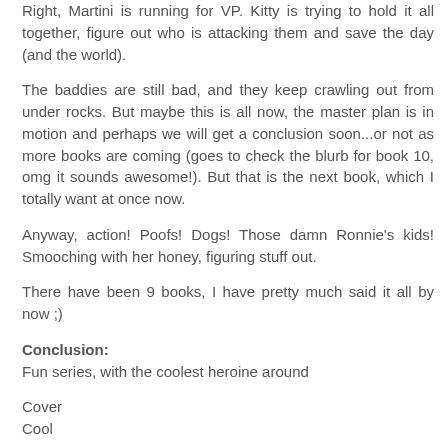Right, Martini is running for VP. Kitty is trying to hold it all together, figure out who is attacking them and save the day (and the world).
The baddies are still bad, and they keep crawling out from under rocks. But maybe this is all now, the master plan is in motion and perhaps we will get a conclusion soon...or not as more books are coming (goes to check the blurb for book 10, omg it sounds awesome!). But that is the next book, which I totally want at once now.
Anyway, action! Poofs! Dogs! Those damn Ronnie's kids! Smooching with her honey, figuring stuff out.
There have been 9 books, I have pretty much said it all by now ;)
Conclusion: Fun series, with the coolest heroine around
Cover
Cool